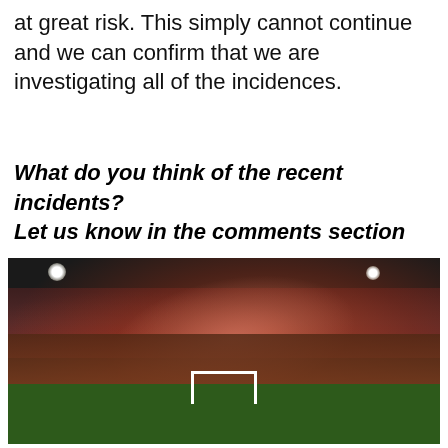at great risk. This simply cannot continue and we can confirm that we are investigating all of the incidences.
What do you think of the recent incidents? Let us know in the comments section
[Figure (photo): Aerial night view of a football stadium with crowds of fans flooding the pitch, pink/red flare smoke filling the air, stadium lights glowing, stands packed with spectators.]